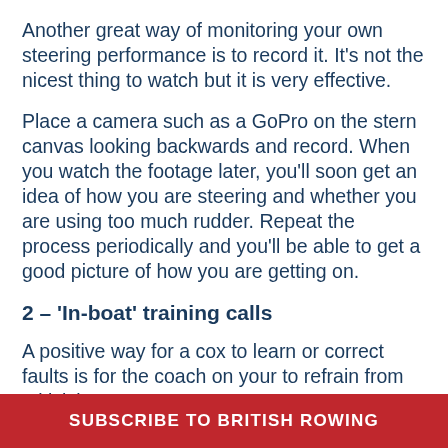Another great way of monitoring your own steering performance is to record it. It's not the nicest thing to watch but it is very effective.
Place a camera such as a GoPro on the stern canvas looking backwards and record. When you watch the footage later, you'll soon get an idea of how you are steering and whether you are using too much rudder. Repeat the process periodically and you'll be able to get a good picture of how you are getting on.
2 – 'In-boat' training calls
A positive way for a cox to learn or correct faults is for the coach on your to refrain from criticising
SUBSCRIBE TO BRITISH ROWING